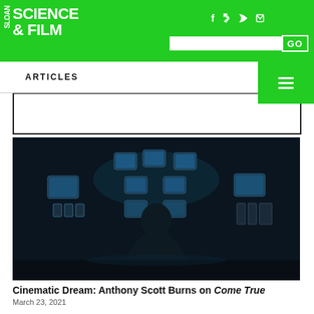SLOAN SCIENCE & FILM
ARTICLES
[Figure (photo): Dark cinematic still from Come True: a person seen from behind sitting at a control panel with multiple glowing monitor screens arranged in a pattern, in a dimly lit room]
Cinematic Dream: Anthony Scott Burns on Come True
March 23, 2021